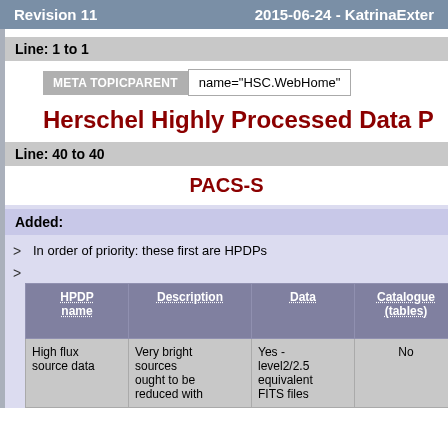Revision 11    2015-06-24 - KatrinaExter
Line: 1 to 1
| META TOPICPARENT | name="HSC.WebHome" |
| --- | --- |
Herschel Highly Processed Data P
Line: 40 to 40
PACS-S
Added:
> In order of priority: these first are HPDPs
>
| HPDP name | Description | Data | Catalogue (tables) | Imag (PNG etc) |
| --- | --- | --- | --- | --- |
| High flux source data | Very bright sources ought to be reduced with | Yes - level2/2.5 equivalent FITS files | No |  |